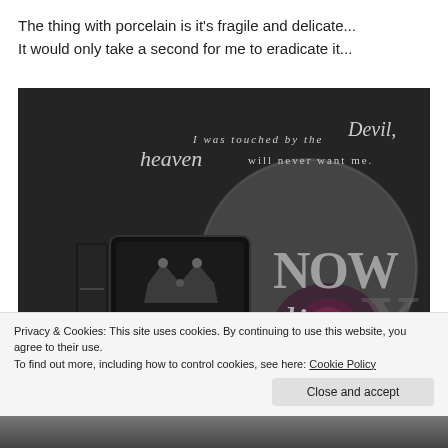The thing with porcelain is it's fragile and delicate...
It would only take a second for me to eradicate it...
[Figure (photo): Dark atmospheric book promotional image featuring books and a e-reader on a dark surface with a crown, a dark rose, and overlaid text reading 'I was touched by the Devil, heaven will never want me.' and large stylized letters 'NOW LIVE' with 'READ FREE IN' at the bottom.]
Privacy & Cookies: This site uses cookies. By continuing to use this website, you agree to their use.
To find out more, including how to control cookies, see here: Cookie Policy
Close and accept